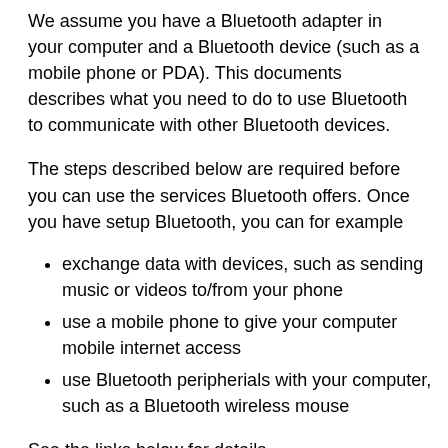We assume you have a Bluetooth adapter in your computer and a Bluetooth device (such as a mobile phone or PDA). This documents describes what you need to do to use Bluetooth to communicate with other Bluetooth devices.
The steps described below are required before you can use the services Bluetooth offers. Once you have setup Bluetooth, you can for example
exchange data with devices, such as sending music or videos to/from your phone
use a mobile phone to give your computer mobile internet access
use Bluetooth peripherials with your computer, such as a Bluetooth wireless mouse
See the links below for details.
Prerequisites